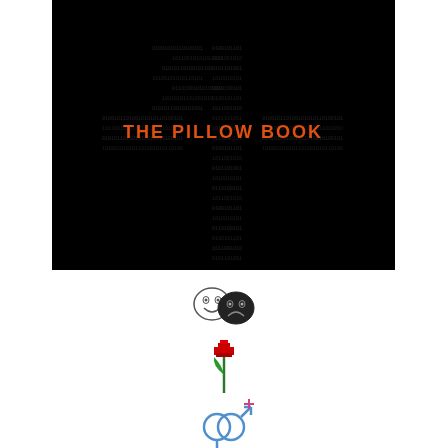[Figure (screenshot): Movie title screen for 'The Pillow Book' with orange text on black background with dot-matrix pattern]
[Figure (illustration): Three emoji icons stacked vertically: drama masks (comedy/tragedy), a rose, and gender symbols]
The Pillow Book (1996 Fr./UK/Netherlands), 126 minutes, D: Peter Greenaway
[Figure (screenshot): Movie title screen for 'Primal Fear' with white text on dark background with lights]